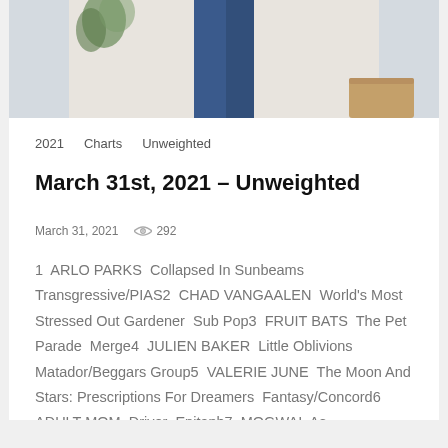[Figure (photo): Partial photo of a person wearing blue pants, cropped at torso, with a plant and light background visible]
2021   Charts   Unweighted
March 31st, 2021 – Unweighted
March 31, 2021   292
1  ARLO PARKS  Collapsed In Sunbeams  Transgressive/PIAS2  CHAD VANGAALEN  World's Most Stressed Out Gardener  Sub Pop3  FRUIT BATS  The Pet Parade  Merge4  JULIEN BAKER  Little Oblivions  Matador/Beggars Group5  VALERIE JUNE  The Moon And Stars: Prescriptions For Dreamers  Fantasy/Concord6  ADULT MOM  Driver  Epitaph7  MOGWAI  As...